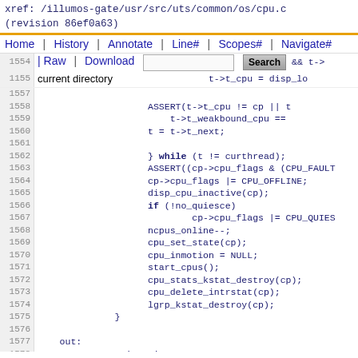xref: /illumos-gate/usr/src/uts/common/os/cpu.c
(revision 86ef0a63)
Home | History | Annotate | Line# | Scopes# | Navigate#
1554
| Raw | Download   [search box] Search  && t->
1555
1156 current directory   t->t_cpu = disp_lo
Code lines 1557-1578: ASSERT, while loop, cpu offline logic, out: label